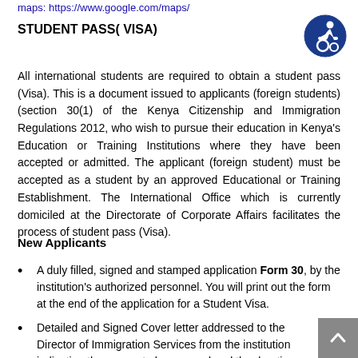maps: https://www.google.com/maps/
STUDENT PASS( VISA)
[Figure (illustration): Accessibility icon — blue circle with white wheelchair user symbol]
All international students are required to obtain a student pass (Visa). This is a document issued to applicants (foreign students) (section 30(1) of the Kenya Citizenship and Immigration Regulations 2012, who wish to pursue their education in Kenya’s Education or Training Institutions where they have been accepted or admitted. The applicant (foreign student) must be accepted as a student by an approved Educational or Training Establishment. The International Office which is currently domiciled at the Directorate of Corporate Affairs facilitates the process of student pass (Visa).
New Applicants
A duly filled, signed and stamped application Form 30, by the institution’s authorized personnel. You will print out the form at the end of the application for a Student Visa.
Detailed and Signed Cover letter addressed to the Director of Immigration Services from the institution indicating the course to be pursued and the duration